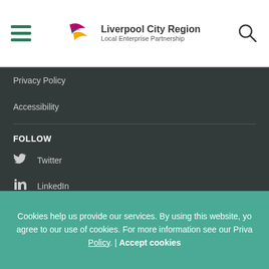Liverpool City Region Local Enterprise Partnership
Privacy Policy
Accessibility
FOLLOW
Twitter
LinkedIn
[Figure (logo): European Union European Structural logo with EU flag (blue background with yellow stars)]
Cookies help us provide our services. By using this website, you agree to our use of cookies. For more information see our Privacy Policy. | Accept cookies